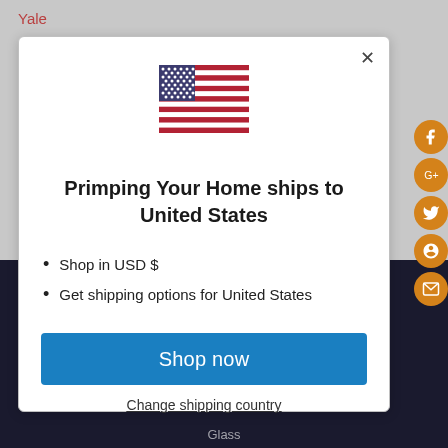Yale
[Figure (illustration): US flag SVG illustration centered in modal]
Primping Your Home ships to United States
Shop in USD $
Get shipping options for United States
Shop now
Change shipping country
Glass